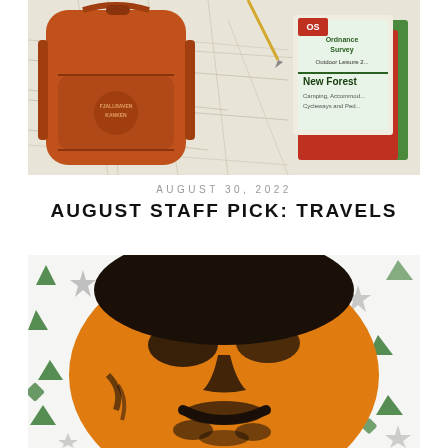[Figure (photo): Overhead flat-lay photo of an orange Fjallraven Kanken backpack on a map, with a pen and Ordnance Survey 'New Forest Outdoor Leisure' map books in the upper right corner.]
AUGUST 30, 2022
AUGUST STAFF PICK: TRAVELS
[Figure (illustration): Pop-art style illustration of a man's face in orange and black ink, on a white background with green and grey decorative star and leaf shapes scattered around.]